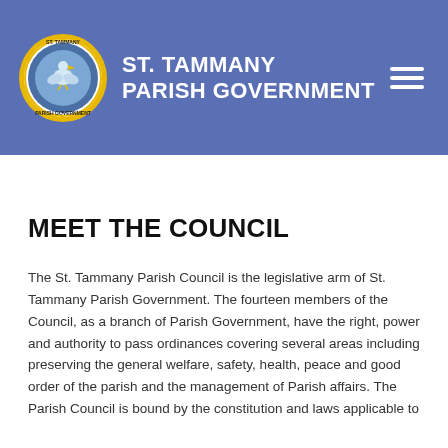[Figure (logo): St. Tammany Parish Government logo — circular seal with gold border and blue interior, showing a pelican and other regional imagery, with text around the border.]
ST. TAMMANY PARISH GOVERNMENT
MEET THE COUNCIL
The St. Tammany Parish Council is the legislative arm of St. Tammany Parish Government. The fourteen members of the Council, as a branch of Parish Government, have the right, power and authority to pass ordinances covering several areas including preserving the general welfare, safety, health, peace and good order of the parish and the management of Parish affairs. The Parish Council is bound by the constitution and laws applicable to